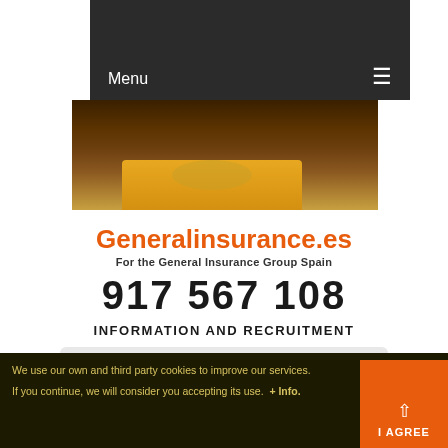Menu  ☰
[Figure (photo): Partial view of a woman with long dark hair wearing a yellow top, cropped to show shoulders and neck area]
Generalinsurance.es
For the General Insurance Group Spain
917 567 108
INFORMATION AND RECRUITMENT
REQUEST A QUOTE
We use our own and third party cookies to improve our services. If you continue, we will consider you accepting its use. + Info.  I AGREE